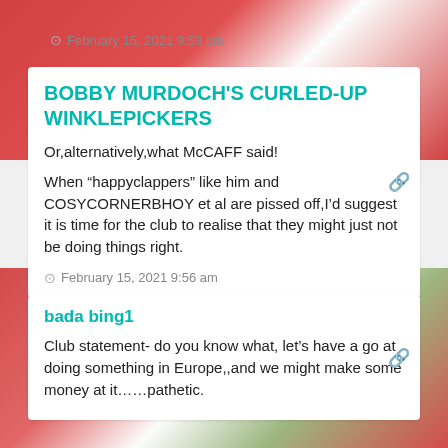February 15, 2021 9:53 am
BOBBY MURDOCH'S CURLED-UP WINKLEPICKERS
Or,alternatively,what McCAFF said!
When “happyclappers” like him and COSYCORNERBHOY et al are pissed off,I’d suggest it is time for the club to realise that they might just not be doing things right.
February 15, 2021 9:56 am
bada bing1
Club statement- do you know what, let’s have a go at doing something in Europe,,and we might make some money at it……pathetic.